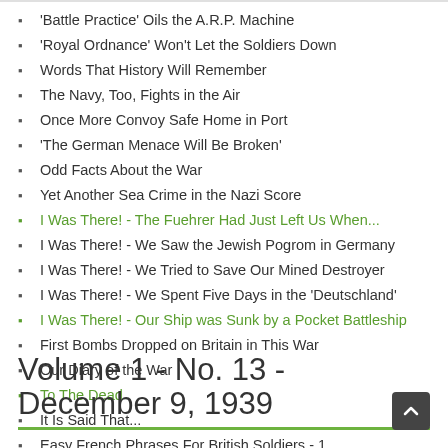'Battle Practice' Oils the A.R.P. Machine
'Royal Ordnance' Won't Let the Soldiers Down
Words That History Will Remember
The Navy, Too, Fights in the Air
Once More Convoy Safe Home in Port
'The German Menace Will Be Broken'
Odd Facts About the War
Yet Another Sea Crime in the Nazi Score
I Was There! - The Fuehrer Had Just Left Us When...
I Was There! - We Saw the Jewish Pogrom in Germany
I Was There! - We Tried to Save Our Mined Destroyer
I Was There! - We Spent Five Days in the 'Deutschland'
I Was There! - Our Ship was Sunk by a Pocket Battleship
First Bombs Dropped on Britain in This War
Our Diary of the War
To The Dead
It Is Said That...
Easy French Phrases For British Soldiers - 1.
Volume 1 - No. 13 - December 9, 1939